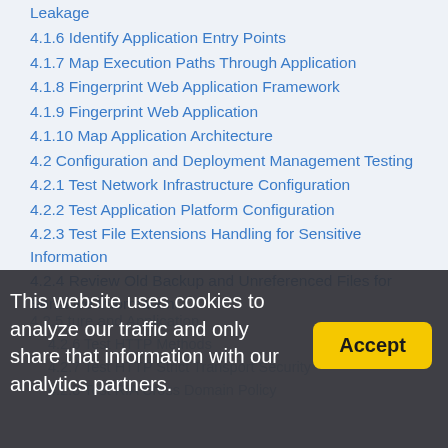Leakage
4.1.6 Identify Application Entry Points
4.1.7 Map Execution Paths Through Application
4.1.8 Fingerprint Web Application Framework
4.1.9 Fingerprint Web Application
4.1.10 Map Application Architecture
4.2 Configuration and Deployment Management Testing
4.2.1 Test Network Infrastructure Configuration
4.2.2 Test Application Platform Configuration
4.2.3 Test File Extensions Handling for Sensitive Information
4.2.4 Review Old Backup and Unreferenced Files for Sensitive Information
4.2.5 [partially obscured] ture and Application
4.2.6 Test HTTP Methods
4.2.7 Test HTTP Strict Transport Security
4.2.8 Test RIA Cross Domain Policy
This website uses cookies to analyze our traffic and only share that information with our analytics partners.